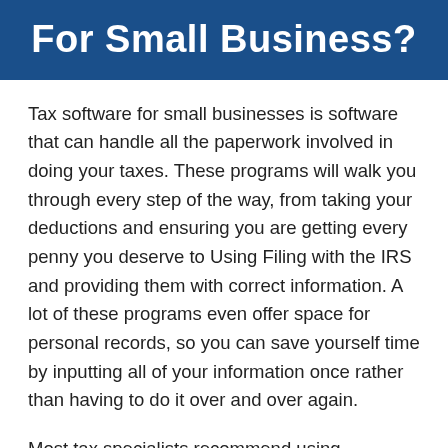For Small Business?
Tax software for small businesses is software that can handle all the paperwork involved in doing your taxes. These programs will walk you through every step of the way, from taking your deductions and ensuring you are getting every penny you deserve to Using Filing with the IRS and providing them with correct information. A lot of these programs even offer space for personal records, so you can save yourself time by inputting all of your information once rather than having to do it over and over again.
Most tax specialists recommend using professional tax software if your taxes are relatively simple or you have difficulty communicating with the IRS.